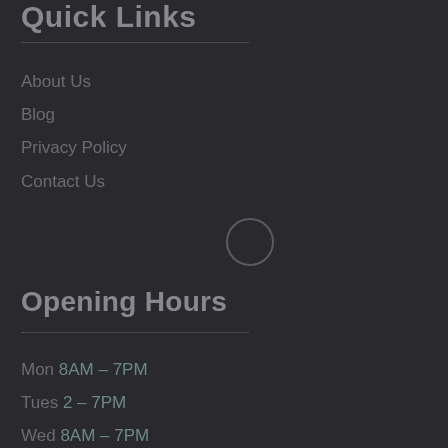Quick Links
About Us
Blog
Privacy Policy
Contact Us
[Figure (illustration): A circular outline icon, lightly stroked, on dark background]
Opening Hours
Mon 8AM – 7PM
Tues 2 – 7PM
Wed 8AM – 7PM